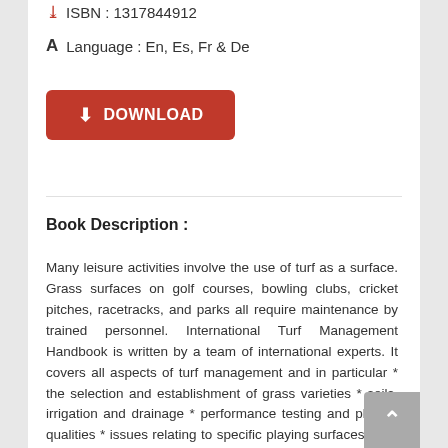ISBN : 1317844912
Language : En, Es, Fr & De
DOWNLOAD
Book Description :
Many leisure activities involve the use of turf as a surface. Grass surfaces on golf courses, bowling clubs, cricket pitches, racetracks, and parks all require maintenance by trained personnel. International Turf Management Handbook is written by a team of international experts. It covers all aspects of turf management and in particular * the selection and establishment of grass varieties * soils, irrigation and drainage * performance testing and playing qualities * issues relating to specific playing surfaces In its depth of coverage and detailed practical advice from around the world this comprehensive handbook is destined to